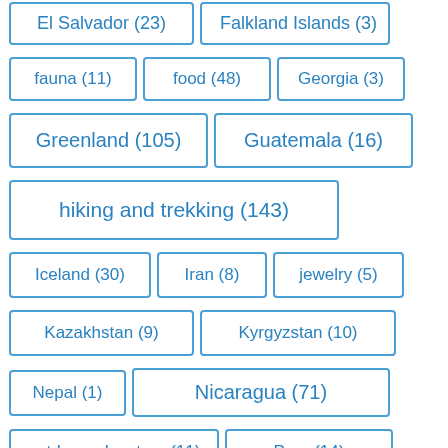El Salvador (23)
Falkland Islands (3)
fauna (11)
food (48)
Georgia (3)
Greenland (105)
Guatemala (16)
hiking and trekking (143)
Iceland (30)
Iran (8)
jewelry (5)
Kazakhstan (9)
Kyrgyzstan (10)
Nepal (1)
Nicaragua (71)
outdoor adventure (11)
Peru (14)
Portugal (9)
public transport (9)